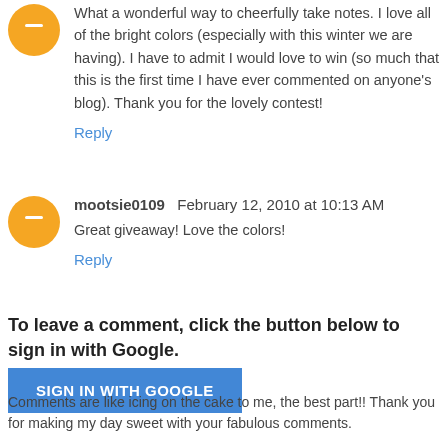What a wonderful way to cheerfully take notes. I love all of the bright colors (especially with this winter we are having). I have to admit I would love to win (so much that this is the first time I have ever commented on anyone's blog). Thank you for the lovely contest!
Reply
mootsie0109  February 12, 2010 at 10:13 AM
Great giveaway! Love the colors!
Reply
To leave a comment, click the button below to sign in with Google.
SIGN IN WITH GOOGLE
Comments are like icing on the cake to me, the best part!! Thank you for making my day sweet with your fabulous comments.